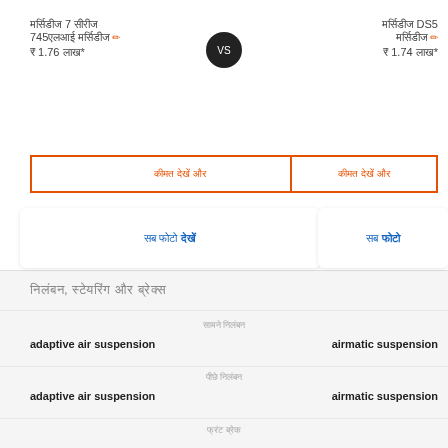मर्सिडीज 7 सीरीज 745एलआई मर्सिडीज/ ₹ 1.76 लाख*
मर्सिडीज DS5 मर्सिडीज/ ₹ 1.74 लाख*
कीमत देखें
कीमत देखें
सब फोटो
सब फोटो
निलंबन, स्टेयरिंग और ब्रेक्स
सामने निलंबन
adaptive air suspension
airmatic suspension
पीछे निलंबन
adaptive air suspension
airmatic suspension
फ्रंट ब्रेक